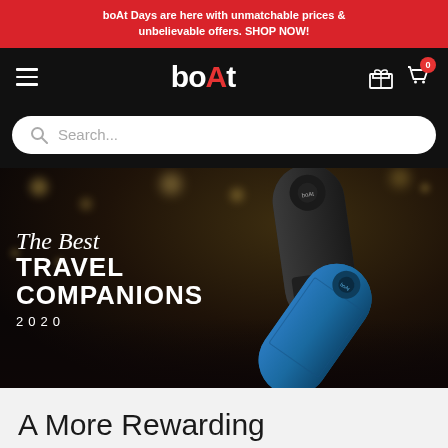boAt Days are here with unmatchable prices & unbelievable offers. SHOP NOW!
[Figure (screenshot): boAt brand navigation bar with hamburger menu, boAt logo, gift/cart icons on black background]
[Figure (screenshot): Search bar with magnifying glass icon and placeholder text 'Search...' on black background]
[Figure (photo): Hero banner showing two boAt Bluetooth speakers (one black, one blue) against a dark bokeh background with text 'The Best TRAVEL COMPANIONS 2020']
A More Rewarding